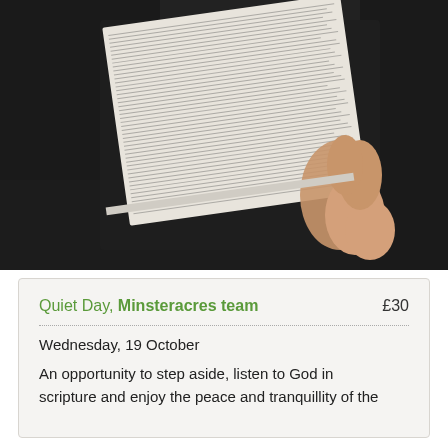[Figure (photo): A person holding an open Bible with dense text visible on the pages, against a dark background.]
Quiet Day, Minsteracres team   £30
Wednesday, 19 October
An opportunity to step aside, listen to God in scripture and enjoy the peace and tranquillity of the